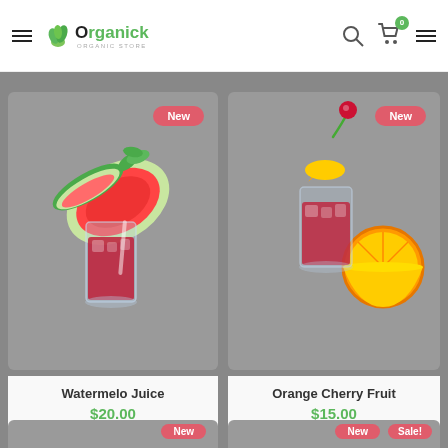Organick - Organic Store header with navigation
[Figure (photo): Watermelon juice drink in a tall glass with watermelon slice and mint garnish, on grey background with 'New' badge]
Watermelo Juice
$20.00
[Figure (photo): Orange cherry fruit drink in a tall glass with orange slice and cherry garnish, on grey background with 'New' badge]
Orange Cherry Fruit
$15.00
[Figure (photo): Fourth product partially visible at bottom left with 'New' badge]
[Figure (photo): Fourth product partially visible at bottom right with 'New' and 'Sale!' badges]